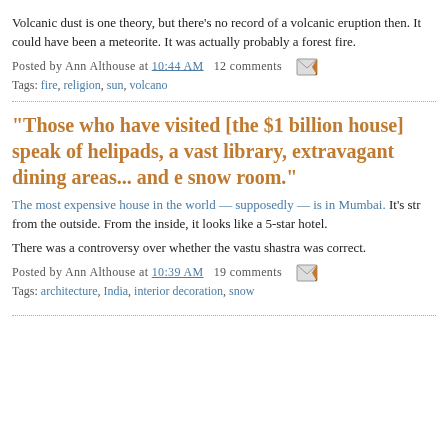Volcanic dust is one theory, but there's no record of a volcanic eruption then. It could have been a meteorite. It was actually probably a forest fire.
Posted by Ann Althouse at 10:44 AM  12 comments
Tags: fire, religion, sun, volcano
"Those who have visited [the $1 billion house] speak of helipads, a vast library, extravagant dining areas... and e snow room."
The most expensive house in the world — supposedly — is in Mumbai. It's str from the outside. From the inside, it looks like a 5-star hotel.
There was a controversy over whether the vastu shastra was correct.
Posted by Ann Althouse at 10:39 AM  19 comments
Tags: architecture, India, interior decoration, snow